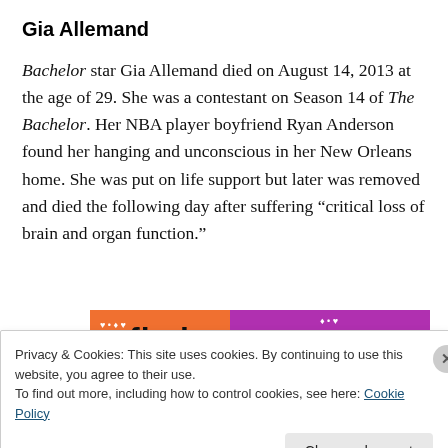Gia Allemand
Bachelor star Gia Allemand died on August 14, 2013 at the age of 29. She was a contestant on Season 14 of The Bachelor. Her NBA player boyfriend Ryan Anderson found her hanging and unconscious in her New Orleans home. She was put on life support but later was removed and died the following day after suffering “critical loss of brain and organ function.”
[Figure (other): Partial advertisement banner with orange and purple background and bold black text]
Privacy & Cookies: This site uses cookies. By continuing to use this website, you agree to their use.
To find out more, including how to control cookies, see here: Cookie Policy